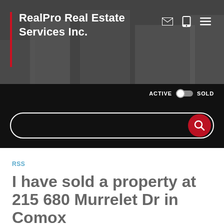RealPro Real Estate Services Inc.
ACTIVE   SOLD
[Figure (screenshot): Search bar with red search button on black background]
RSS
I have sold a property at 215 680 Murrelet Dr in Comox
Posted on March 31, 2022 by Paul Stapley
Posted in: CV Comox (Town of), Comox Valley Real Estate